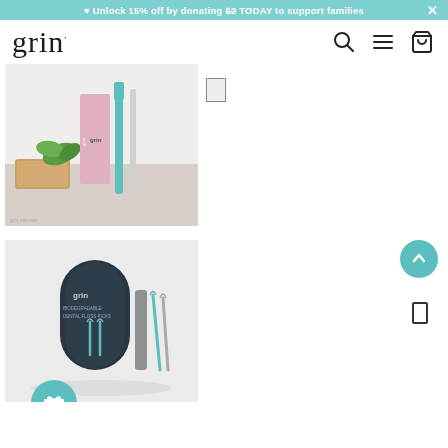♥ Unlock 15% off by donating $2 TODAY to support families
[Figure (logo): Grin brand logo in serif font]
[Figure (photo): Grin toothpaste and toothbrush products on white background with green leaves and wooden block]
[Figure (photo): Grin biodegradable dental floss picks in dark cylindrical packaging with floss picks displayed next to it on grey background]
Adult Biodegradable Dental Floss Picks 45pk